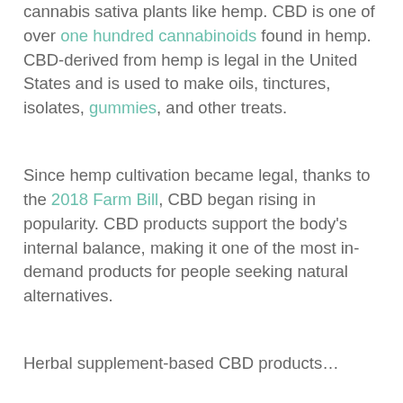cannabis sativa plants like hemp. CBD is one of over one hundred cannabinoids found in hemp. CBD-derived from hemp is legal in the United States and is used to make oils, tinctures, isolates, gummies, and other treats.
Since hemp cultivation became legal, thanks to the 2018 Farm Bill, CBD began rising in popularity. CBD products support the body's internal balance, making it one of the most in-demand products for people seeking natural alternatives.
Herbal supplement-based CBD products...